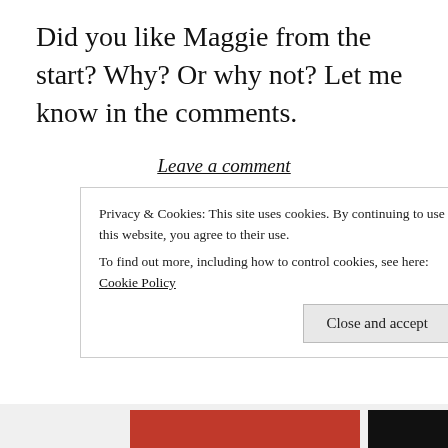Did you like Maggie from the start? Why? Or why not? Let me know in the comments.
Leave a comment
[Figure (illustration): Decorative horizontal divider ornament with a central diamond/dot cluster and horizontal lines extending to each side]
[Figure (illustration): Decorative curly wave ornament]
Privacy & Cookies: This site uses cookies. By continuing to use this website, you agree to their use.
To find out more, including how to control cookies, see here: Cookie Policy
Close and accept